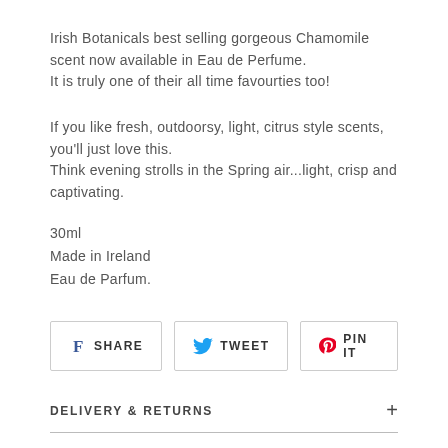Irish Botanicals best selling gorgeous Chamomile scent now available in Eau de Perfume.
It is truly one of their all time favourties too!
If you like fresh, outdoorsy, light, citrus style scents, you'll just love this.
Think evening strolls in the Spring air...light, crisp and captivating.
30ml
Made in Ireland
Eau de Parfum.
[Figure (other): Social sharing buttons: SHARE (Facebook), TWEET (Twitter), PIN IT (Pinterest)]
DELIVERY & RETURNS +
CLICK & COLLECT +